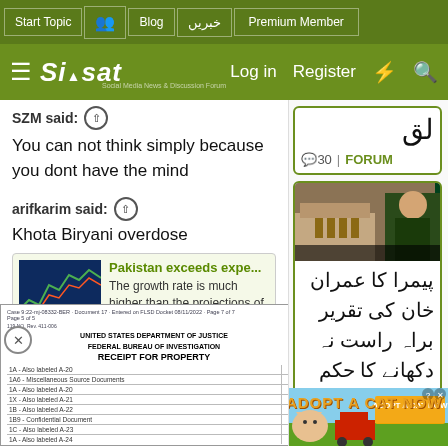Start Topic | Blog | خبریں | Premium Member | Log in | Register
[Figure (screenshot): Siasat.pk website logo bar with hamburger menu, Log in, Register, lightning bolt and search icons on dark green background]
SZM said: ↑
You can not think simply because you dont have the mind
arifkarim said: ↑
Khota Biryani overdose
[Figure (screenshot): Embedded news card with stock market chart thumbnail. Title: Pakistan exceeds expe... Description: The growth rate is much higher than the projections of 4pc and 4.3pc by the IMF and World]
[Figure (screenshot): FBI Receipt for Property document overlay showing United States Department of Justice Federal Bureau of Investigation with list of items labeled A-20 through A-24]
alay ke
[Figure (screenshot): Right sidebar card 1: Urdu text with speech bubble icon showing 30 | FORUM]
[Figure (screenshot): Right sidebar card 2: Image of Imran Khan, Urdu text: پیمرا کا عمران خان کی تقریر براہ راست نہ دکھانے کا حکم معطل, 21 | FORUM]
[Figure (screenshot): Bottom advertisement: ADOPT A CAT NOW with cartoon cat image on blue background]